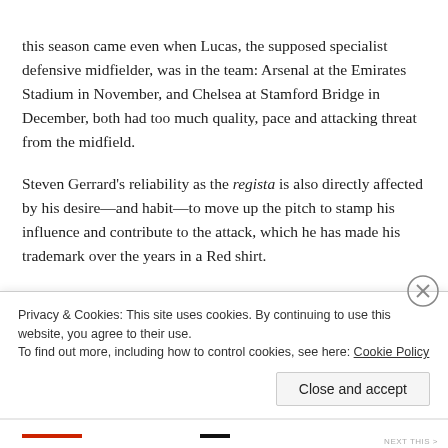this season came even when Lucas, the supposed specialist defensive midfielder, was in the team: Arsenal at the Emirates Stadium in November, and Chelsea at Stamford Bridge in December, both had too much quality, pace and attacking threat from the midfield.
Steven Gerrard's reliability as the regista is also directly affected by his desire—and habit—to move up the pitch to stamp his influence and contribute to the attack, which he has made his trademark over the years in a Red shirt.
We considered Yann M'Vila in January when he was linked with a move to Anfield, per Jamie Sanderson at Metro. For a
Privacy & Cookies: This site uses cookies. By continuing to use this website, you agree to their use.
To find out more, including how to control cookies, see here: Cookie Policy
Close and accept